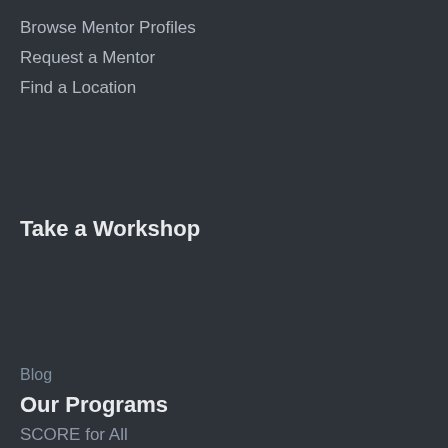Browse Mentor Profiles
Request a Mentor
Find a Location
Take a Workshop
[Figure (screenshot): Modal popup with title 'Keep Up With SCORE Coastal Carolina!', body text, email input field, and SUBMIT button on blue background]
Blog
Our Programs
SCORE for All
Startup Roadmap